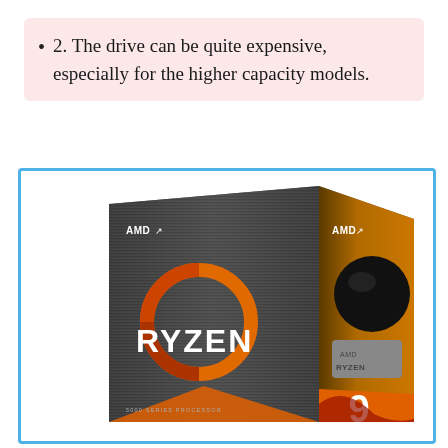2. The drive can be quite expensive, especially for the higher capacity models.
[Figure (photo): Product photo of an AMD Ryzen 9 5000 Series Processor retail box. The box is dark gray with horizontal brushed-metal texture. The front face shows the AMD logo in top left, a large orange and red circular Ryzen logo ring in the center, and 'RYZEN' text in large white letters. The right side panel shows 'AMD' logo at top on an orange background, a black AMD Ryzen processor chip, an 'AMD RYZEN' label plate, and an orange '9' numeral at the bottom. Small text at the bottom reads '5000 SERIES PROCESSOR'.]